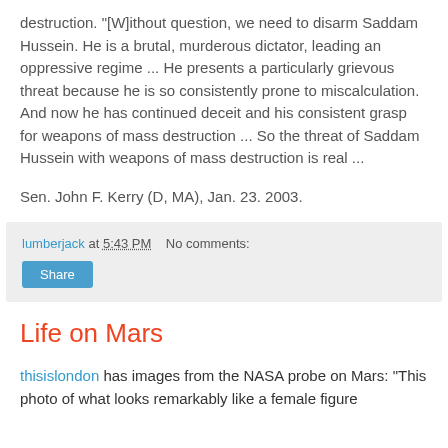destruction. "[W]ithout question, we need to disarm Saddam Hussein. He is a brutal, murderous dictator, leading an oppressive regime ... He presents a particularly grievous threat because he is so consistently prone to miscalculation. And now he has continued deceit and his consistent grasp for weapons of mass destruction ... So the threat of Saddam Hussein with weapons of mass destruction is real ...
Sen. John F. Kerry (D, MA), Jan. 23. 2003.
lumberjack at 5:43 PM   No comments:
Share
Life on Mars
thisislondon has images from the NASA probe on Mars: "This photo of what looks remarkably like a female figure